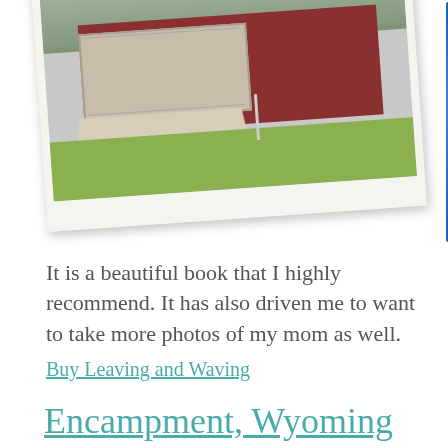[Figure (photo): A polaroid-style photograph of a single-story ranch house with a white garage door, red/dark brick exterior, green lawn, concrete driveway, and bare trees in the background. A for-sale sign is visible in the yard. A blue book spine is partially visible on the right edge.]
It is a beautiful book that I highly recommend. It has also driven me to want to take more photos of my mom as well.
Buy Leaving and Waving
Encampment, Wyoming